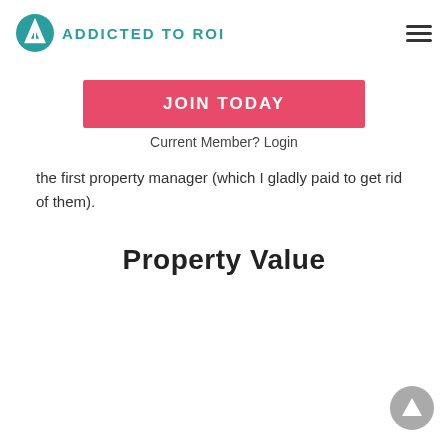ADDICTED TO ROI
JOIN TODAY
Current Member? Login
the first property manager (which I gladly paid to get rid of them).
Property Value